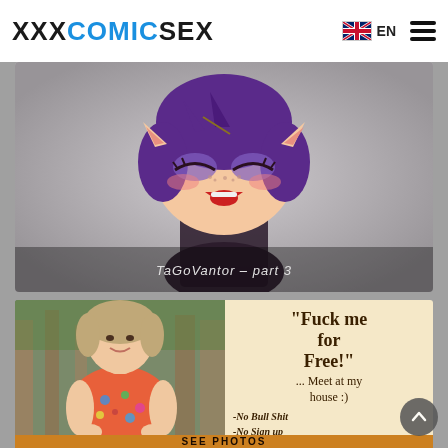XXXCOMICSEX — EN
[Figure (illustration): Anime-style cartoon character with purple hair and elf ears, smiling. Text overlay reads: TaGoVantor – part 3]
[Figure (photo): Advertisement banner showing a woman outdoors and text: "Fuck me for Free!" ... Meet at my house :) -No Bull Shit -No Sign up SEE PHOTOS]